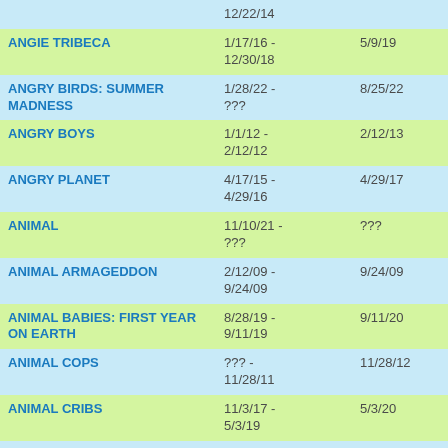| Show | Start - End | End Date | Network |
| --- | --- | --- | --- |
|  | 12/22/14 |  |  |
| ANGIE TRIBECA | 1/17/16 - 12/30/18 | 5/9/19 | TBS |
| ANGRY BIRDS: SUMMER MADNESS | 1/28/22 - ??? | 8/25/22 | NETFL... |
| ANGRY BOYS | 1/1/12 - 2/12/12 | 2/12/13 | HBO |
| ANGRY PLANET | 4/17/15 - 4/29/16 | 4/29/17 | PIVOT |
| ANIMAL | 11/10/21 - ??? | ??? | NETFL... |
| ANIMAL ARMAGEDDON | 2/12/09 - 9/24/09 | 9/24/09 | ANIMA... |
| ANIMAL BABIES: FIRST YEAR ON EARTH | 8/28/19 - 9/11/19 | 9/11/20 | PBS |
| ANIMAL COPS | ??? - 11/28/11 | 11/28/12 | ANIMA... |
| ANIMAL CRIBS | 11/3/17 - 5/3/19 | 5/3/20 | ANIMA... |
| ANIMAL ER | 9/10/16 - 10/7/17 | 10/7/18 | NAT G... |
| ANIMAL ER LIVE | 3/30/19 - 4/21/19 | 4/21/20 | NAT G... |
| ANIMAL FIGHT NIGHT | 10/6/13 - ... | 10/6/14 | NAT G... |